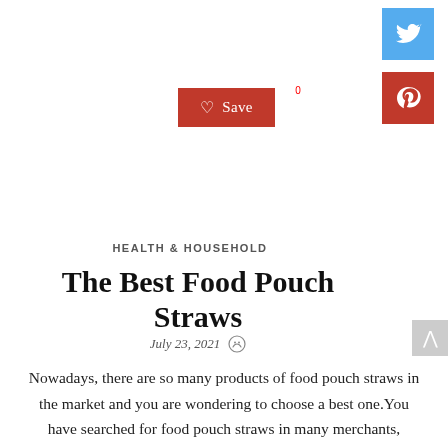[Figure (other): Save button with heart icon and badge showing 0]
[Figure (other): Twitter social share button (blue bird icon)]
[Figure (other): Pinterest social share button (red P icon)]
HEALTH & HOUSEHOLD
The Best Food Pouch Straws
July 23, 2021
Nowadays, there are so many products of food pouch straws in the market and you are wondering to choose a best one.You have searched for food pouch straws in many merchants, compared about products prices & reviews before deciding to buy